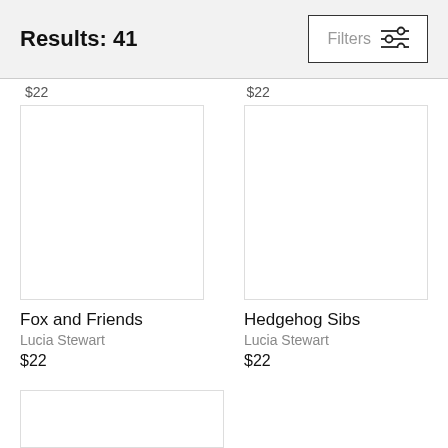Results: 41
Filters
$22
$22
[Figure (illustration): Book cover placeholder for Fox and Friends]
Fox and Friends
Lucia Stewart
$22
[Figure (illustration): Book cover placeholder for Hedgehog Sibs]
Hedgehog Sibs
Lucia Stewart
$22
[Figure (illustration): Book cover placeholder for third book (partial)]